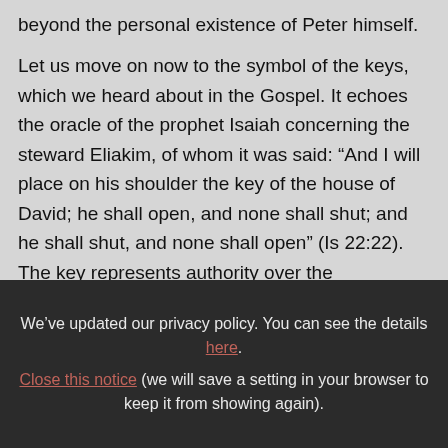beyond the personal existence of Peter himself.
Let us move on now to the symbol of the keys, which we heard about in the Gospel. It echoes the oracle of the prophet Isaiah concerning the steward Eliakim, of whom it was said: “And I will place on his shoulder the key of the house of David; he shall open, and none shall shut; and he shall shut, and none shall open” (Is 22:22). The key represents authority over the
We’ve updated our privacy policy. You can see the details here.
Close this notice (we will save a setting in your browser to keep it from showing again).